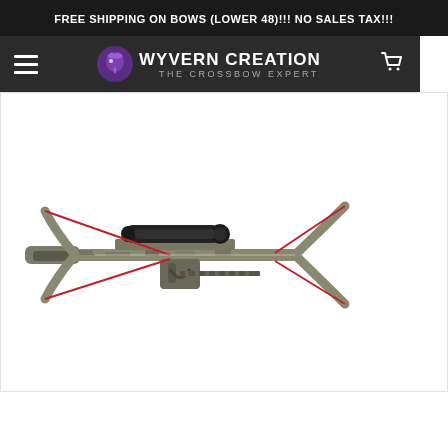FREE SHIPPING ON BOWS (LOWER 48)!!! NO SALES TAX!!!
[Figure (logo): Wyvern Creations - The Crossbow Experts logo with purple dragon icon]
[Figure (photo): Crossbow (Ravin or similar brand) with scope, shown horizontally on white background — camo pattern finish with red strings]